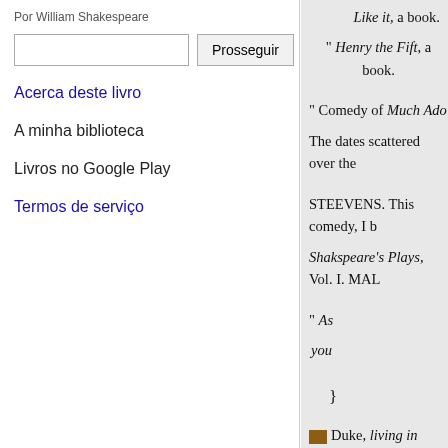Por William Shakespeare
Prosseguir
Acerca deste livro
A minha biblioteca
Livros no Google Play
Termos de serviço
Like it, a book.
" Henry the Fift, a book.
" Comedy of Much Ado
The dates scattered over the
STEEVENS. This comedy, I b
Shakspeare's Plays, Vol. I. MAL
" As
you
}
Duke, living in exile.
Frederick, brother to the Du
dominions.
Amiens, 7 Lords attending
Jaques,
}